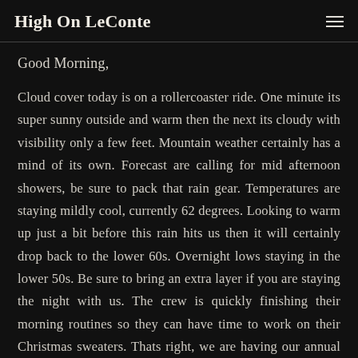High On LeConte
Good Morning,
Cloud cover today is on a rollercoaster ride. One minute its super sunny outside and warm then the next its cloudy with visibility only a few feet. Mountain weather certainly has a mind of its own. Forecast are calling for mid afternoon showers, be sure to pack that rain gear. Temperatures are staying mildly cool, currently 62 degrees. Looking to warm up just a bit before this rain hits us then it will certainly drop back to the lower 60s. Overnight lows staying in the lower 50s. Be sure to bring an extra layer if you are staying the night with us. The crew is quickly finishing their morning routines so they can have time to work on their Christmas sweaters. Thats right, we are having our annual Christmas in July party for the crew tomorrow